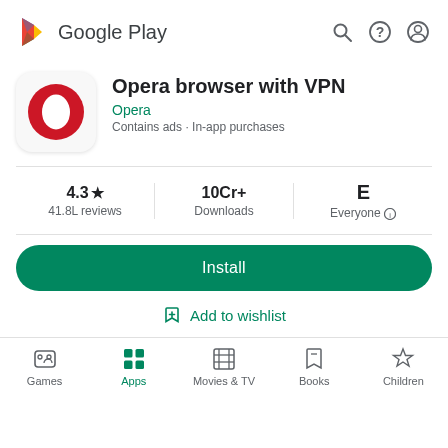[Figure (screenshot): Google Play store page for Opera browser with VPN app, showing app icon, title, developer, stats, install button, add to wishlist, and bottom navigation bar]
Opera browser with VPN
Opera
Contains ads · In-app purchases
4.3★
41.8L reviews
10Cr+
Downloads
Everyone
Install
Add to wishlist
Games
Apps
Movies & TV
Books
Children